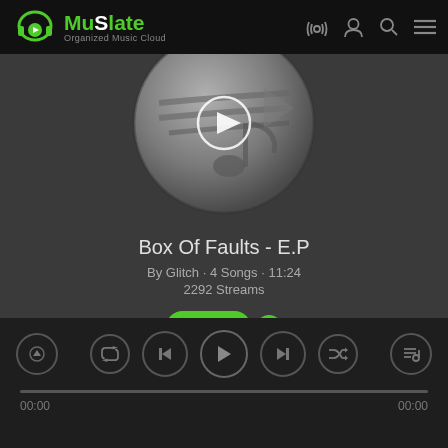MuSlate - Organized Music Cloud
[Figure (illustration): Circular album art with a music note icon and a play button overlay in the center. The circle has a glossy grey gradient appearance.]
Box Of Faults - E.P
By Glitch · 4 Songs · 11:24
2292 Streams
[Figure (screenshot): Music player controls bar at the bottom with repeat, previous, play, next, shuffle icons. Up arrow on left side. Queue icon on right side. Progress bar showing 00:00 on both ends.]